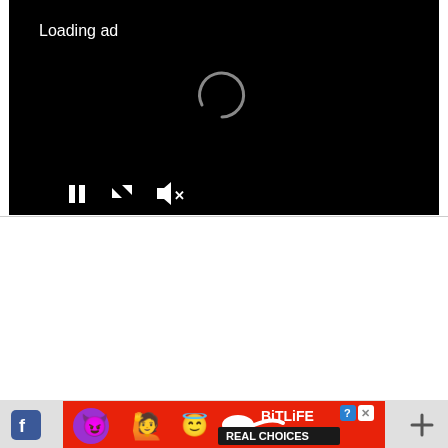[Figure (screenshot): Video ad player with black background showing 'Loading ad' text, a spinning loading indicator, and playback controls (pause, fullscreen, mute) at the bottom left.]
[Figure (screenshot): BitLife advertisement banner with red background, emoji characters (devil, person, angel, sperm), and 'BitLife REAL CHOICES' text with app store badges.]